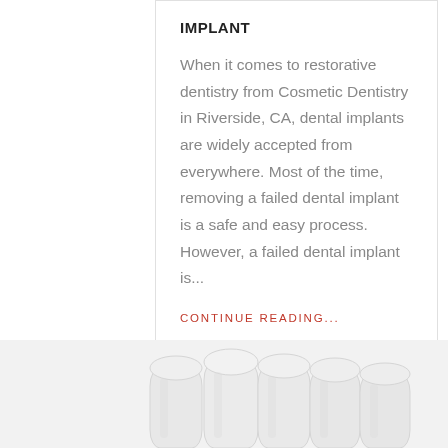IMPLANT
When it comes to restorative dentistry from Cosmetic Dentistry in Riverside, CA, dental implants are widely accepted from everywhere. Most of the time, removing a failed dental implant is a safe and easy process. However, a failed dental implant is...
CONTINUE READING...
[Figure (illustration): Row of white ceramic dental teeth/implants viewed from the front, bottom portion visible against white/light grey background]